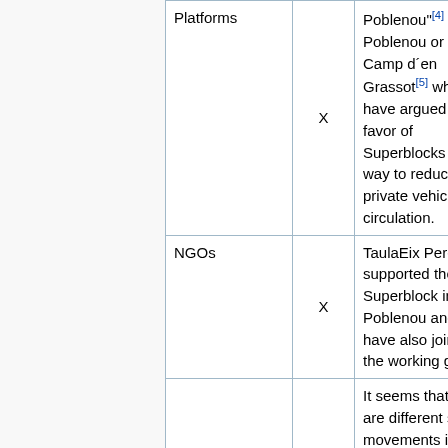| Platforms | X | Poblenou"[4] in Poblenou or in Camp d´en Grassot[5] which have argued in favor of Superblocks as a way to reduce private vehicle circulation. |
| NGOs | X | TaulaEix Pere IV supported the Superblock in Poblenou and have also joined the working group. |
|  |  | It seems that there are different strong movements in favor and against Superblocks, which are mostly in regards to the effects on the |